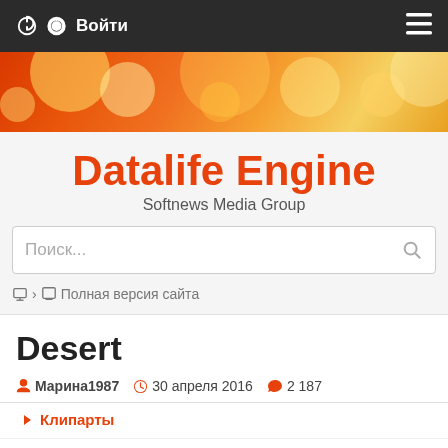Войти  ≡
[Figure (illustration): Orange bokeh decorative banner header]
Datalife Engine
Softnews Media Group
Поиск...
Полная версия сайта
Desert
Марина1987  30 апреля 2016  2 187
Клипарты
[Figure (photo): Partial view of a blue sky photo, bottom portion cut off]